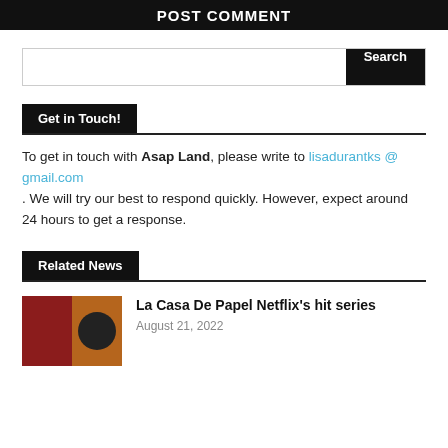POST COMMENT
Search
Get in Touch!
To get in touch with Asap Land, please write to lisadurantks @ gmail.com. We will try our best to respond quickly. However, expect around 24 hours to get a response.
Related News
La Casa De Papel Netflix's hit series
August 21, 2022